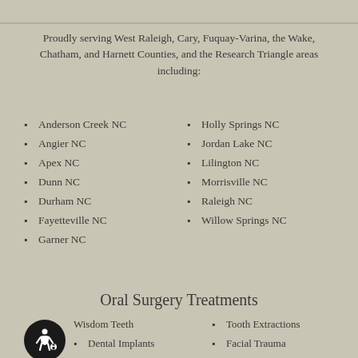Proudly serving West Raleigh, Cary, Fuquay-Varina, the Wake, Chatham, and Harnett Counties, and the Research Triangle areas including:
Anderson Creek NC
Holly Springs NC
Angier NC
Jordan Lake NC
Apex NC
Lilington NC
Dunn NC
Morrisville NC
Durham NC
Raleigh NC
Fayetteville NC
Willow Springs NC
Garner NC
Oral Surgery Treatments
Wisdom Teeth
Tooth Extractions
Dental Implants
Facial Trauma